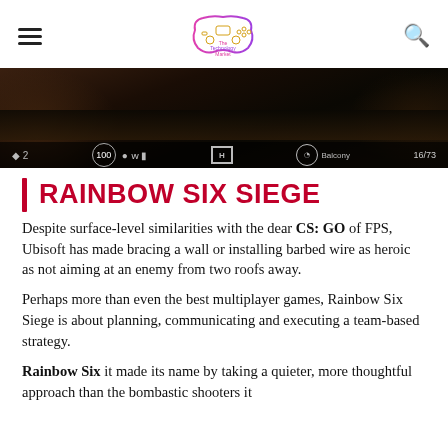The Technology Market
[Figure (screenshot): Rainbow Six Siege gameplay screenshot showing dark interior scene with HUD elements including health (100), timer, and score (16/73)]
RAINBOW SIX SIEGE
Despite surface-level similarities with the dear CS: GO of FPS, Ubisoft has made bracing a wall or installing barbed wire as heroic as not aiming at an enemy from two roofs away.
Perhaps more than even the best multiplayer games, Rainbow Six Siege is about planning, communicating and executing a team-based strategy.
Rainbow Six it made its name by taking a quieter, more thoughtful approach than the bombastic shooters it